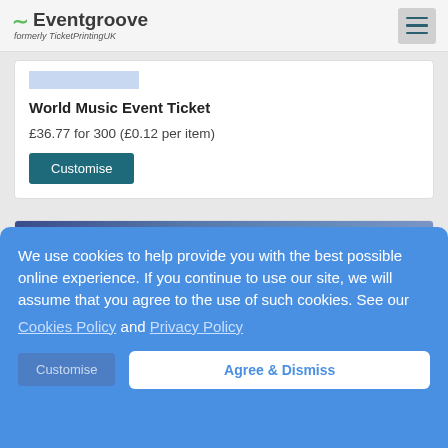Eventgroove formerly TicketPrintingUK
World Music Event Ticket
£36.77 for 300 (£0.12 per item)
Customise
[Figure (screenshot): Partial ticket preview with blue gradient background showing 'ANCIENT WISDOM' text]
We use cookies to help provide you with the best possible online experience. If you continue to use our site, we will assume that you agree to the use of such cookies. See our Cookies Policy and Privacy Policy
Customise   Agree & Dismiss